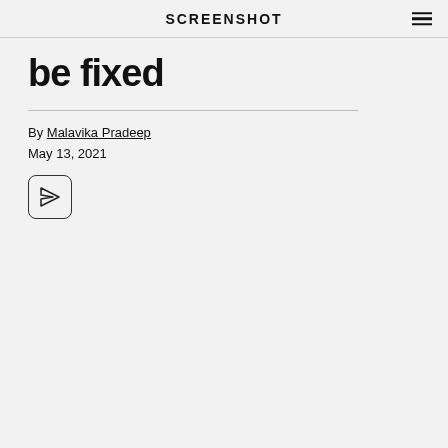SCREENSHOT
be fixed
By Malavika Pradeep
May 13, 2021
[Figure (illustration): Share/send icon button — a rounded square button containing a paper plane (send) icon]